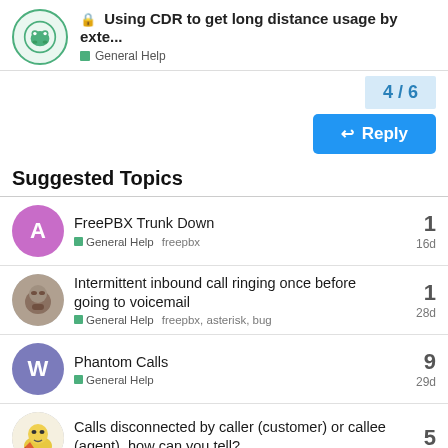🔒 Using CDR to get long distance usage by exte... — General Help
4 / 6
Reply
Suggested Topics
FreePBX Trunk Down
General Help  freepbx
1
16d
Intermittent inbound call ringing once before going to voicemail
General Help  freepbx, asterisk, bug
1
28d
Phantom Calls
General Help
9
29d
Calls disconnected by caller (customer) or callee (agent), how can you tell?
5